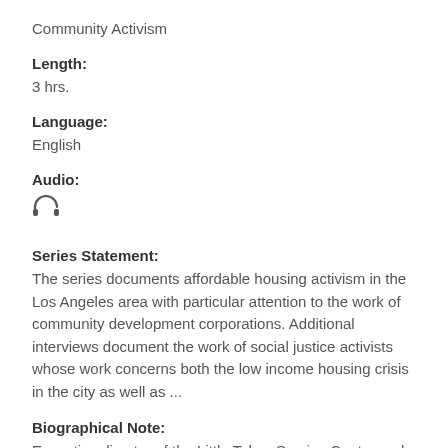Community Activism
Length:
3 hrs.
Language:
English
Audio:
[Figure (illustration): Headphone icon]
Series Statement:
The series documents affordable housing activism in the Los Angeles area with particular attention to the work of community development corporations. Additional interviews document the work of social justice activists whose work concerns both the low income housing crisis in the city as well as ...
Biographical Note:
Executive director of the Little Tokyo Service Center and founder of the Asian Pacific Community Fund.